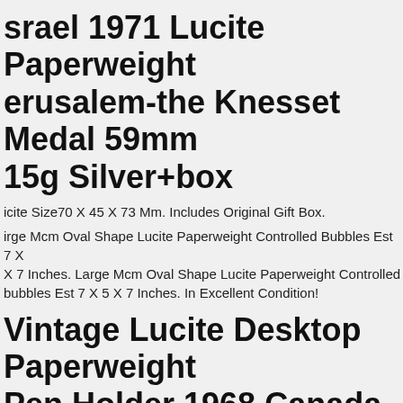Israel 1971 Lucite Paperweight Jerusalem-the Knesset Medal 59mm 15g Silver+box
Lucite Size70 X 45 X 73 Mm. Includes Original Gift Box.
Large Mcm Oval Shape Lucite Paperweight Controlled Bubbles Est 7 X 7 Inches. Large Mcm Oval Shape Lucite Paperweight Controlled Bubbles Est 7 X 5 X 7 Inches. In Excellent Condition!
Vintage Lucite Desktop Paperweight Pen Holder 1968 Canada Coins
Lucite Paperweight Beetle Old Estate Drawer Find Unusual Bug Bright cm Clear Zw.